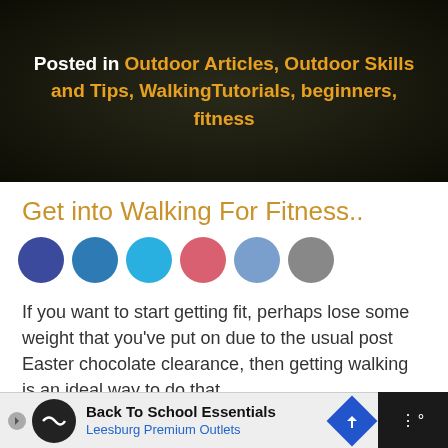Posted in Outdoor Articles, Outdoor Skills and Tips, WalkingTutorials, beginners, fitness
Get into Walking For Fitness..
[Figure (infographic): Six social sharing circle buttons: dark blue (Facebook), medium blue, light blue (Twitter), pink/red, light blue-grey, grey]
If you want to start getting fit, perhaps lose some weight that you've put on due to the usual post Easter chocolate clearance, then getting walking is an ideal way to do that.
Should i go walking, running or cycling?
[Figure (infographic): Advertisement banner: Back To School Essentials - Leesburg Premium Outlets with navigation arrow icon]